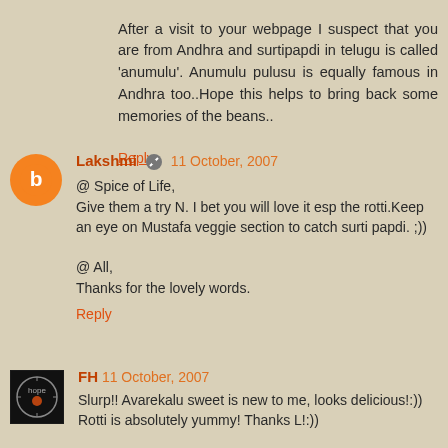After a visit to your webpage I suspect that you are from Andhra and surtipapdi in telugu is called 'anumulu'. Anumulu pulusu is equally famous in Andhra too..Hope this helps to bring back some memories of the beans..
Reply
Lakshmi 11 October, 2007
@ Spice of Life,
Give them a try N. I bet you will love it esp the rotti.Keep an eye on Mustafa veggie section to catch surti papdi. ;))

@ All,
Thanks for the lovely words.
Reply
FH 11 October, 2007
Slurp!! Avarekalu sweet is new to me, looks delicious!:))
Rotti is absolutely yummy! Thanks L!:))